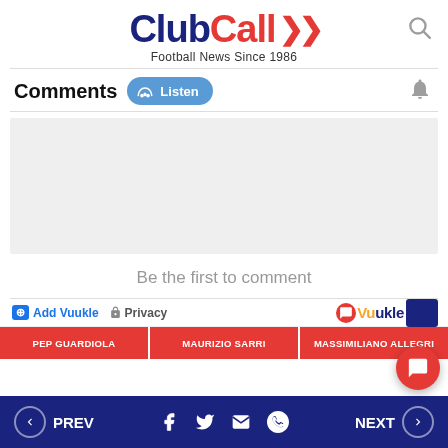[Figure (logo): ClubCall logo with 'Football News Since 1986' tagline and search icon]
Comments
[Figure (screenshot): Grey comment input area box]
Be the first to comment
Add Vuukle   Privacy
PEP GUARDIOLA
MAURIZIO SARRI
MASSIMILIANO ALLEGRI
PREV   NEXT